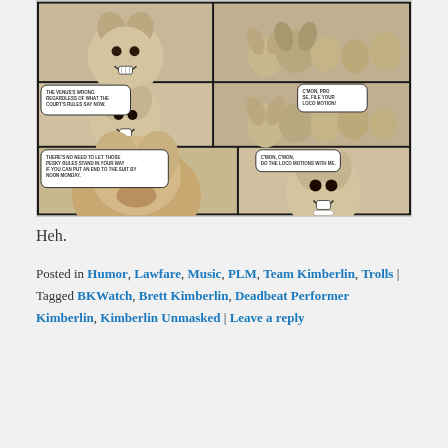[Figure (illustration): A comic strip featuring chihuahua dogs with speech bubbles. Panel 1 top-left: growling chihuahua face. Panel 2 top-right: group of chihuahuas. Panel 3 mid-left: chihuahua with speech bubble 'THE VENUS'S WRONG REGARDLESS OF WHAT THE COURT'S RULES SAY NOW.' Panel 4 mid-right: chihuahuas with speech bubble 'C'MON, PRO SE, FILE YOUR LOCO MOTION!' Panel 5 bottom-left: large dog (bulldog/pug mix) with speech bubble 'THERE'S NO NEED TO LET THOSE PESKY RULES STAND IN YOUR WAY IF YOU CAN PUT AN END TO THE SUIT BY NOON MONDAY.' Panel 6 bottom-right: chihuahua with speech bubble 'C'MON, C'MON, DO THE LOCO MOTIONS WITH ME.']
Heh.
Posted in Humor, Lawfare, Music, PLM, Team Kimberlin, Trolls | Tagged BKWatch, Brett Kimberlin, Deadbeat Performer Kimberlin, Kimberlin Unmasked | Leave a reply